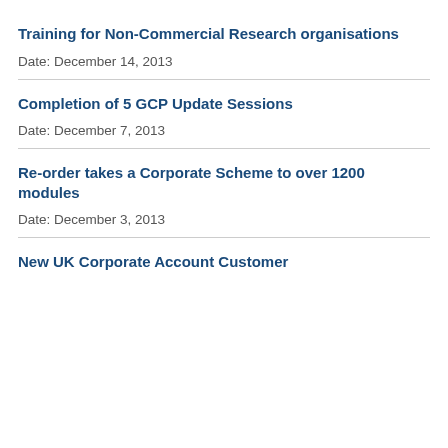Training for Non-Commercial Research organisations
Date: December 14, 2013
Completion of 5 GCP Update Sessions
Date: December 7, 2013
Re-order takes a Corporate Scheme to over 1200 modules
Date: December 3, 2013
New UK Corporate Account Customer